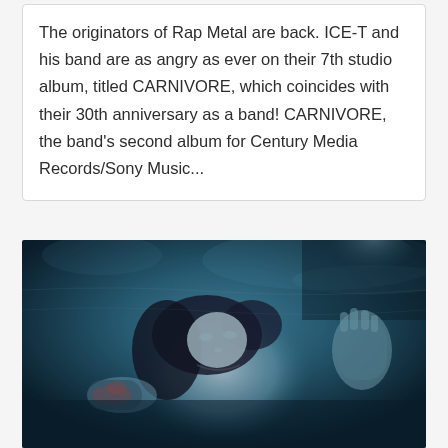The originators of Rap Metal are back. ICE-T and his band are as angry as ever on their 7th studio album, titled CARNIVORE, which coincides with their 30th anniversary as a band! CARNIVORE, the band's second album for Century Media Records/Sony Music...
[Figure (photo): Underwater photograph of a person (appearing to be a young woman) submerged in blue-tinted water, looking upward with wet dark hair floating around them, tattoos visible on arm, hand raised, wearing a necklace. Blue and dark moody tones.]